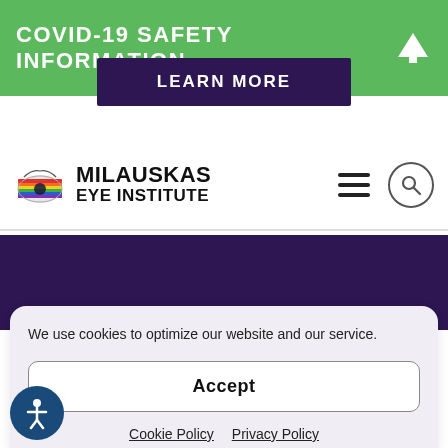COVID-19 SAFETY INFORMATION
LEARN MORE
[Figure (logo): Milauskas Eye Institute logo with colorful eye graphic and text MILAUSKAS EYE INSTITUTE]
We use cookies to optimize our website and our service.
Accept
Cookie Policy   Privacy Policy